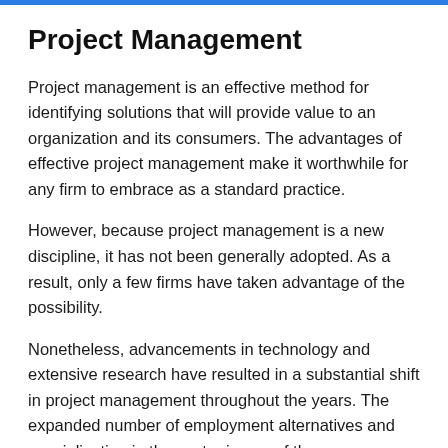Project Management
Project management is an effective method for identifying solutions that will provide value to an organization and its consumers. The advantages of effective project management make it worthwhile for any firm to embrace as a standard practice.
However, because project management is a new discipline, it has not been generally adopted. As a result, only a few firms have taken advantage of the possibility.
Nonetheless, advancements in technology and extensive research have resulted in a substantial shift in project management throughout the years. The expanded number of employment alternatives and specialization in the sector is one of the developments which we address in this piece.